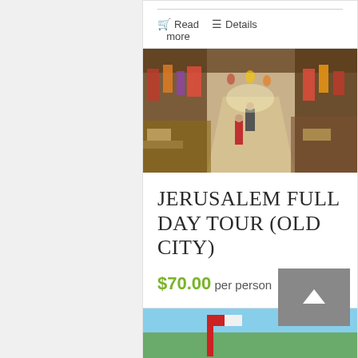Read more  Details
[Figure (photo): Narrow market street with shops and pedestrians, Jerusalem Old City bazaar]
JERUSALEM FULL DAY TOUR (OLD CITY)
$70.00 per person
Read more  Details
[Figure (photo): Partial view of another tour card at bottom]